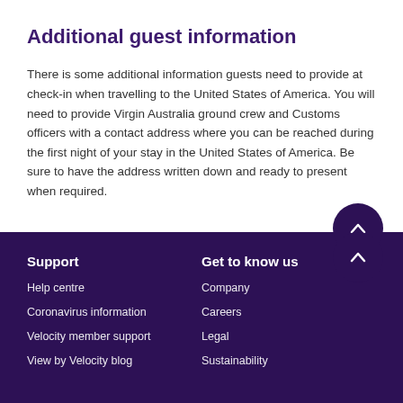Additional guest information
There is some additional information guests need to provide at check-in when travelling to the United States of America. You will need to provide Virgin Australia ground crew and Customs officers with a contact address where you can be reached during the first night of your stay in the United States of America. Be sure to have the address written down and ready to present when required.
Support
Help centre
Coronavirus information
Velocity member support
View by Velocity blog
Get to know us
Company
Careers
Legal
Sustainability